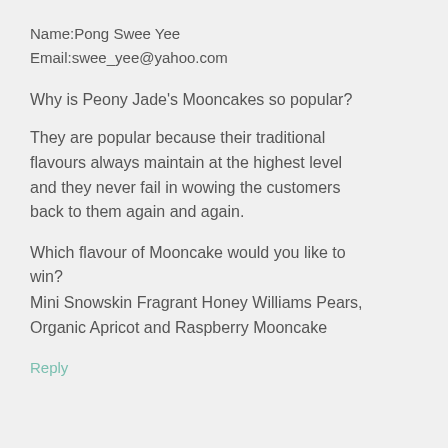Name:Pong Swee Yee
Email:swee_yee@yahoo.com
Why is Peony Jade's Mooncakes so popular?
They are popular because their traditional flavours always maintain at the highest level and they never fail in wowing the customers back to them again and again.
Which flavour of Mooncake would you like to win?
Mini Snowskin Fragrant Honey Williams Pears, Organic Apricot and Raspberry Mooncake
Reply